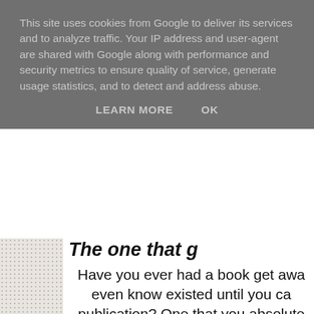This site uses cookies from Google to deliver its services and to analyze traffic. Your IP address and user-agent are shared with Google along with performance and security metrics to ensure quality of service, generate usage statistics, and to detect and address abuse.
LEARN MORE   OK
The one that g
Have you ever had a book get awa even know existed until you ca publication? One that you absolute understand why no-one po Well, I hav
And it's called Anything
Now I have to say it's not for every my more usual 9-12 fantasy read. edge of becoming an adult. It als